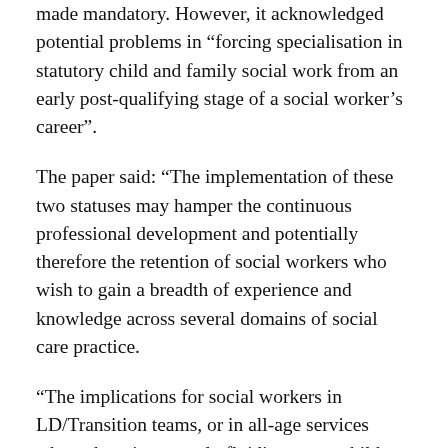made mandatory. However, it acknowledged potential problems in “forcing specialisation in statutory child and family social work from an early post-qualifying stage of a social worker’s career”.
The paper said: “The implementation of these two statuses may hamper the continuous professional development and potentially therefore the retention of social workers who wish to gain a breadth of experience and knowledge across several domains of social care practice.
“The implications for social workers in LD/Transition teams, or in all-age services where there is currently fluidity across child and adult social work must be carefully considered. Above all, the expectations around accreditation need to be sufficiently flexible to be able to support the desired innovation in child and family social work practice.”
It added: “There is a further danger of creating a second class social work profession – those that fail to become